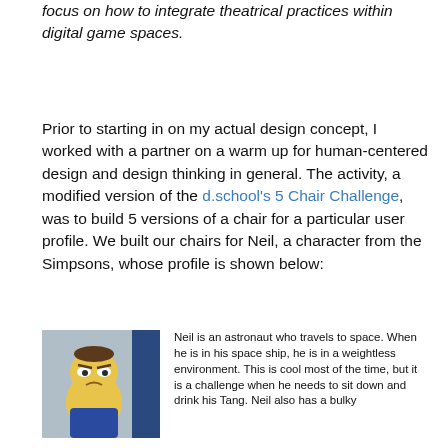…better engagement with performance arts, with a particular focus on how to integrate theatrical practices within digital game spaces.
Prior to starting in on my actual design concept, I worked with a partner on a warm up for human-centered design and design thinking in general. The activity, a modified version of the d.school's 5 Chair Challenge, was to build 5 versions of a chair for a particular user profile. We built our chairs for Neil, a character from the Simpsons, whose profile is shown below:
[Figure (illustration): Image of Neil, a Simpsons character depicted as an astronaut, alongside a user profile text describing Neil as an astronaut who travels to space. The text describes his experience in a weightless environment and challenges he faces when needing to sit down and drink his Tang. Neil also has a bulky spacesuit.]